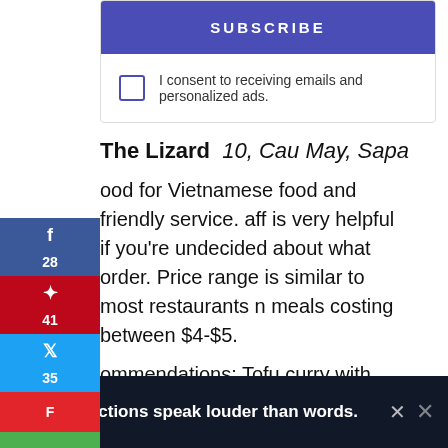[Figure (other): Subscribe button (purple/indigo background, white uppercase text SUBSCRIBE)]
I consent to receiving emails and personalized ads.
The Lizard  10, Cau May, Sapa
ood for Vietnamese food and friendly service. aff is very helpful if you're undecided about what order. Price range is similar to most restaurants n meals costing between $4-$5.
ommendations: Tofu curry with mushrooms, eggplant in a clay pot with steamed rice (picture and Chicken Spring rolls with egg and vegetables.
[Figure (other): Advertisement banner: dark background with figure graphic and text 'Actions speak louder than words.']